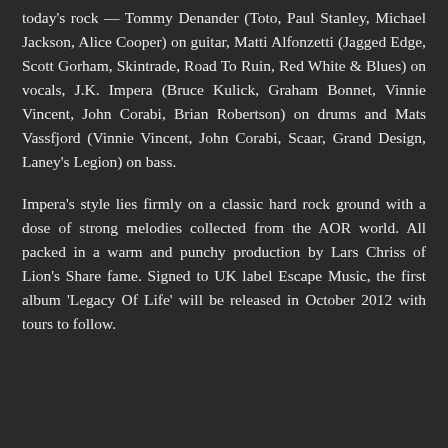today's rock — Tommy Denander (Toto, Paul Stanley, Michael Jackson, Alice Cooper) on guitar, Matti Alfonzetti (Jagged Edge, Scott Gorham, Skintrade, Road To Ruin, Red White & Blues) on vocals, J.K. Impera (Bruce Kulick, Graham Bonnet, Vinnie Vincent, John Corabi, Brian Robertson) on drums and Mats Vassfjord (Vinnie Vincent, John Corabi, Scaar, Grand Design, Laney's Legion) on bass.
Impera's style lies firmly on a classic hard rock ground with a dose of strong melodies collected from the AOR world. All packed in a warm and punchy production by Lars Chriss of Lion's Share fame. Signed to UK label Escape Music, the first album 'Legacy Of Life' will be released in October 2012 with tours to follow.